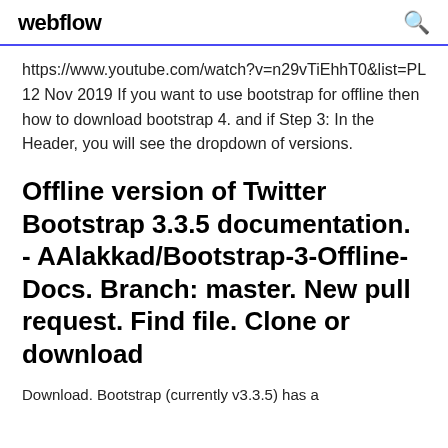webflow
https://www.youtube.com/watch?v=n29vTiEhhT0&list=PL 12 Nov 2019 If you want to use bootstrap for offline then how to download bootstrap 4. and if Step 3: In the Header, you will see the dropdown of versions.
Offline version of Twitter Bootstrap 3.3.5 documentation. - AAlakkad/Bootstrap-3-Offline-Docs. Branch: master. New pull request. Find file. Clone or download
Download. Bootstrap (currently v3.3.5) has a